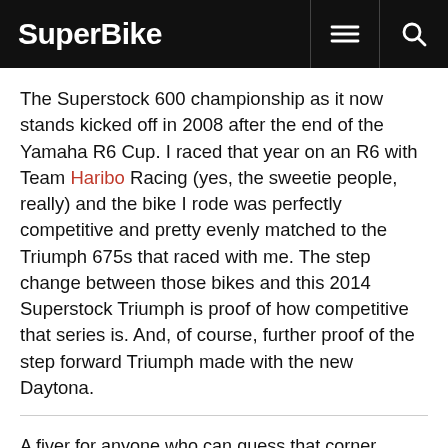SuperBike
The Superstock 600 championship as it now stands kicked off in 2008 after the end of the Yamaha R6 Cup. I raced that year on an R6 with Team Haribo Racing (yes, the sweetie people, really) and the bike I rode was perfectly competitive and pretty evenly matched to the Triumph 675s that raced with me. The step change between those bikes and this 2014 Superstock Triumph is proof of how competitive that series is. And, of course, further proof of the step forward Triumph made with the new Daytona.
A fiver for anyone who can guess that corner...
Little fish